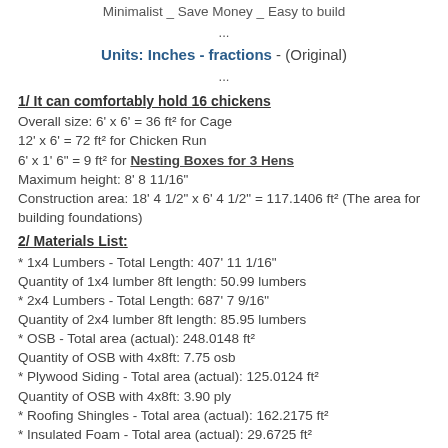Minimalist _ Save Money _ Easy to build
...
Units: Inches - fractions - (Original)
...
1/ It can comfortably hold 16 chickens
Overall size: 6' x 6' = 36 ft² for Cage
12' x 6' = 72 ft² for Chicken Run
6' x 1' 6" = 9 ft² for Nesting Boxes for 3 Hens
Maximum height: 8' 8 11/16"
Construction area: 18' 4 1/2" x 6' 4 1/2" = 117.1406 ft² (The area for building foundations)
2/ Materials List:
* 1x4 Lumbers - Total Length: 407' 11 1/16"
Quantity of 1x4 lumber 8ft length: 50.99 lumbers
* 2x4 Lumbers - Total Length: 687' 7 9/16"
Quantity of 2x4 lumber 8ft length: 85.95 lumbers
* OSB - Total area (actual): 248.0148 ft²
Quantity of OSB with 4x8ft: 7.75 osb
* Plywood Siding - Total area (actual): 125.0124 ft²
Quantity of OSB with 4x8ft: 3.90 ply
* Roofing Shingles - Total area (actual): 162.2175 ft²
* Insulated Foam - Total area (actual): 29.6725 ft²